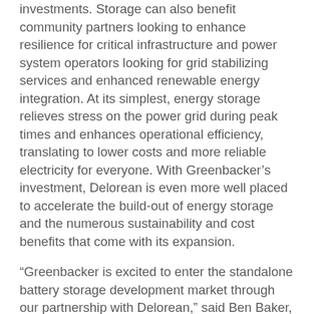investments. Storage can also benefit community partners looking to enhance resilience for critical infrastructure and power system operators looking for grid stabilizing services and enhanced renewable energy integration. At its simplest, energy storage relieves stress on the power grid during peak times and enhances operational efficiency, translating to lower costs and more reliable electricity for everyone. With Greenbacker's investment, Delorean is even more well placed to accelerate the build-out of energy storage and the numerous sustainability and cost benefits that come with its expansion.
“Greenbacker is excited to enter the standalone battery storage development market through our partnership with Delorean,” said Ben Baker, Managing Director and Principal of the Fund. “We